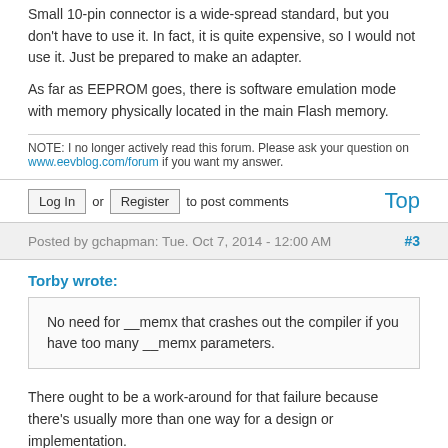Small 10-pin connector is a wide-spread standard, but you don't have to use it. In fact, it is quite expensive, so I would not use it. Just be prepared to make an adapter.
As far as EEPROM goes, there is software emulation mode with memory physically located in the main Flash memory.
NOTE: I no longer actively read this forum. Please ask your question on www.eevblog.com/forum if you want my answer.
Log In or Register to post comments Top
Posted by gchapman: Tue. Oct 7, 2014 - 12:00 AM #3
Torby wrote:
No need for __memx that crashes out the compiler if you have too many __memx parameters.
There ought to be a work-around for that failure because there's usually more than one way for a design or implementation.
Some GCC errors and such are due to either one's mis-operation/mis-